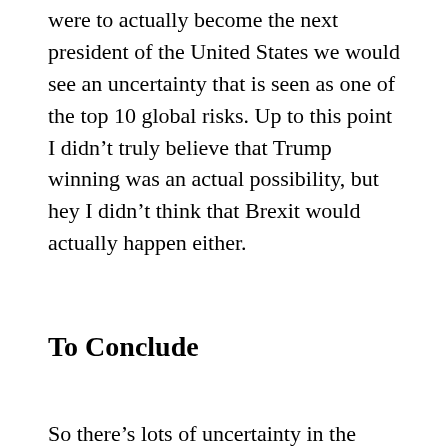were to actually become the next president of the United States we would see an uncertainty that is seen as one of the top 10 global risks. Up to this point I didn't truly believe that Trump winning was an actual possibility, but hey I didn't think that Brexit would actually happen either.
To Conclude
So there's lots of uncertainty in the world today and with the upcoming halving of the mining reward we could potentially see Bitcoin reach new highs. Some say sky is the limit. Another possibility is that nothing